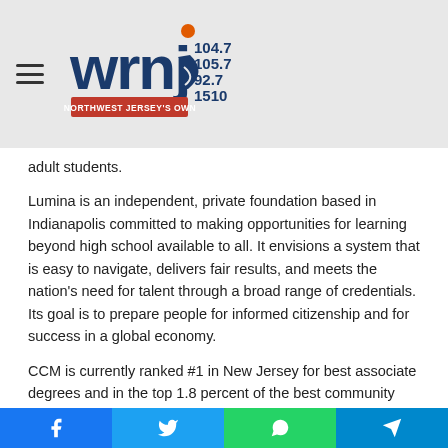[Figure (logo): WRNJ radio station logo with frequencies 104.7, 105.7, 92.7, 1510 and tagline Northwest Jersey's Own]
adult students.
Lumina is an independent, private foundation based in Indianapolis committed to making opportunities for learning beyond high school available to all. It envisions a system that is easy to navigate, delivers fair results, and meets the nation's need for talent through a broad range of credentials. Its goal is to prepare people for informed citizenship and for success in a global economy.
CCM is currently ranked #1 in New Jersey for best associate degrees and in the top 1.8 percent of the best community colleges nationwide by Intelligent. The college